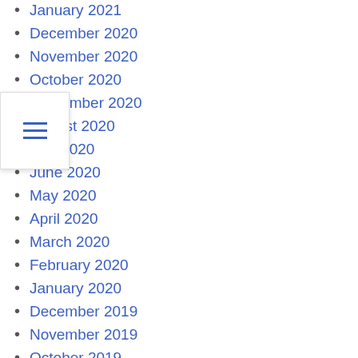January 2021
December 2020
November 2020
October 2020
September 2020
August 2020
July 2020
June 2020
May 2020
April 2020
March 2020
February 2020
January 2020
December 2019
November 2019
October 2019
September 2019
August 2019